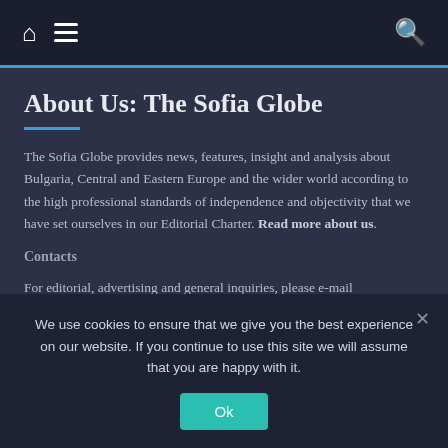Home | Menu | Search
About Us: The Sofia Globe
The Sofia Globe provides news, features, insight and analysis about Bulgaria, Central and Eastern Europe and the wider world according to the high professional standards of independence and objectivity that we have set ourselves in our Editorial Charter. Read more about us.
Contacts
For editorial, advertising and general inquiries, please e-mail editor@sofiaglobe.com.
Legal Notice Действителен собственик на настоящото издание е
We use cookies to ensure that we give you the best experience on our website. If you continue to use this site we will assume that you are happy with it. Ok